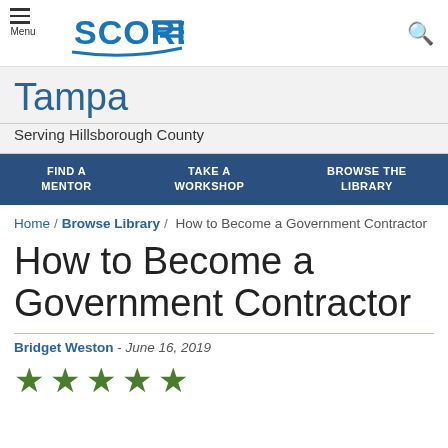[Figure (logo): SCORE logo with hamburger menu and search icon]
Tampa
Serving Hillsborough County
FIND A MENTOR / TAKE A WORKSHOP / BROWSE THE LIBRARY
Home / Browse Library / How to Become a Government Contractor
How to Become a Government Contractor
Bridget Weston - June 16, 2019
[Figure (illustration): 5 green star rating]